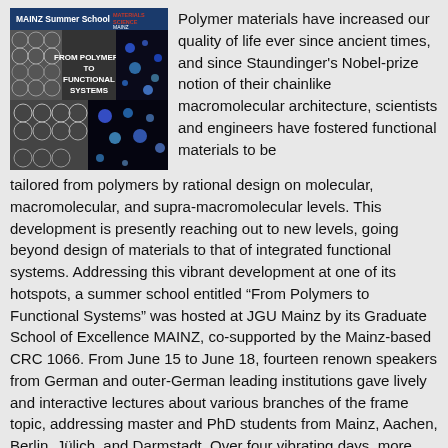[Figure (photo): MAINZ Summer School banner with 'FROM POLYMERS TO FUNCTIONAL SYSTEMS' text and microscopy/imaging images showing polymer structures and fluorescence. Logo reads 'MATERIALS SCIENCE MAINZ'.]
Polymer materials have increased our quality of life ever since ancient times, and since Staundinger's Nobel-prize notion of their chainlike macromolecular architecture, scientists and engineers have fostered functional materials to be tailored from polymers by rational design on molecular, macromolecular, and supra-macromolecular levels. This development is presently reaching out to new levels, going beyond design of materials to that of integrated functional systems. Addressing this vibrant development at one of its hotspots, a summer school entitled “From Polymers to Functional Systems” was hosted at JGU Mainz by its Graduate School of Excellence MAINZ, co-supported by the Mainz-based CRC 1066. From June 15 to June 18, fourteen renown speakers from German and outer-German leading institutions gave lively and interactive lectures about various branches of the frame topic, addressing master and PhD students from Mainz, Aachen, Berlin, Jülich, and Darmstadt. Over four vibrating days, more than 60 attendees actively participated in these lectures and discussions, ranging from self-assembled polymeric nanosystems, polymers at interfaces, polymer-based energy consumption, and polymer-particulate drug delivery, liquid crystalline, and gas responsive systems. Next to these academic topics, speakers from Crystal Therapeutics and BASF highlighted current industrial developments in view of customer-based design of functional polymer systems for personalized medicine up to ton-scale commodities. Both